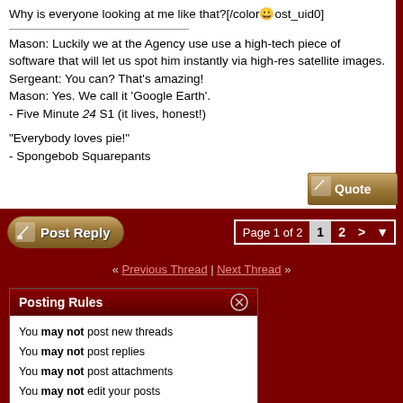Why is everyone looking at me like that?[/color😊ost_uid0]

Mason: Luckily we at the Agency use use a high-tech piece of software that will let us spot him instantly via high-res satellite images.
Sergeant: You can? That's amazing!
Mason: Yes. We call it 'Google Earth'.
- Five Minute 24 S1 (it lives, honest!)

"Everybody loves pie!"
- Spongebob Squarepants
[Figure (screenshot): Quote button]
[Figure (screenshot): Post Reply button]
Page 1 of 2  1  2  >
« Previous Thread | Next Thread »
Posting Rules
You may not post new threads
You may not post replies
You may not post attachments
You may not edit your posts
BB code is On
Smilies are On
[IMG] code is On